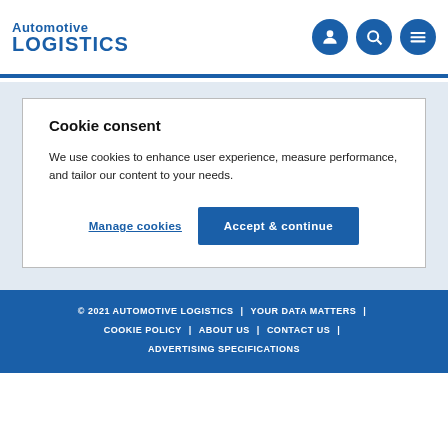Automotive LOGISTICS
Cookie consent
We use cookies to enhance user experience, measure performance, and tailor our content to your needs.
Manage cookies | Accept & continue
© 2021 AUTOMOTIVE LOGISTICS | YOUR DATA MATTERS | COOKIE POLICY | ABOUT US | CONTACT US | ADVERTISING SPECIFICATIONS